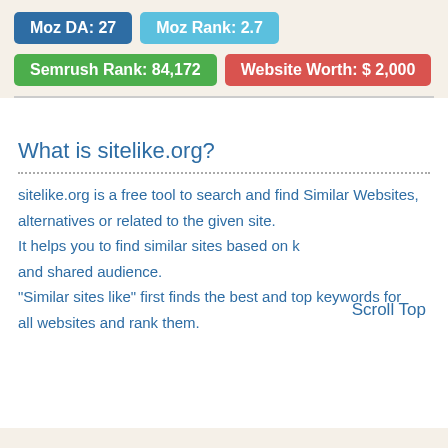[Figure (infographic): Website metrics badges: Moz DA: 27 (dark blue), Moz Rank: 2.7 (light blue), Semrush Rank: 84,172 (green), Website Worth: $ 2,000 (red)]
What is sitelike.org?
sitelike.org is a free tool to search and find Similar Websites, alternatives or related to the given site. It helps you to find similar sites based on k and shared audience. "Similar sites like" first finds the best and top keywords for all websites and rank them.
Scroll Top